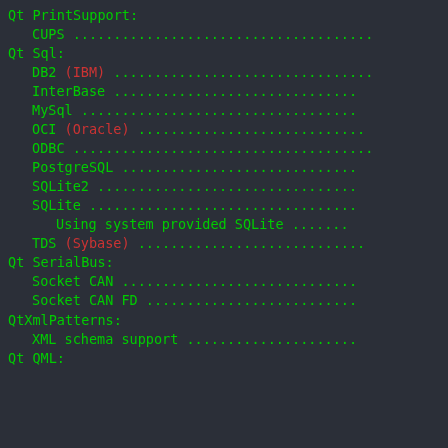Qt PrintSupport:
CUPS ....................................
Qt Sql:
DB2 (IBM) ................................
InterBase ................................
MySql ....................................
OCI (Oracle) .............................
ODBC .....................................
PostgreSQL ...............................
SQLite2 ..................................
SQLite ...................................
Using system provided SQLite .......
TDS (Sybase) .............................
Qt SerialBus:
Socket CAN ...............................
Socket CAN FD ............................
QtXmlPatterns:
XML schema support .......................
Qt QML: